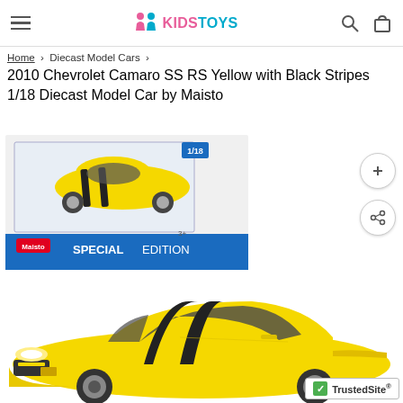KIDSTOYS
Home › Diecast Model Cars ›
2010 Chevrolet Camaro SS RS Yellow with Black Stripes 1/18 Diecast Model Car by Maisto
[Figure (photo): Product box of 2010 Chevrolet Camaro SS RS Yellow with Black Stripes 1/18 Diecast Model Car by Maisto Special Edition]
[Figure (photo): Yellow 2010 Chevrolet Camaro SS RS diecast model car with black stripes, side and front view]